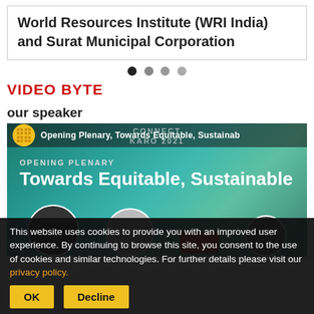World Resources Institute (WRI India) and Surat Municipal Corporation
[Figure (other): Navigation dots: one filled black dot and three gray dots indicating a carousel/slider position]
VIDEO BYTE
our speaker
[Figure (screenshot): Video thumbnail showing 'Opening Plenary, Towards Equitable, Sustainable' with Connect Karo 2021 branding, a yellow logo circle, and speaker portraits at bottom]
This website uses cookies to provide you with an improved user experience. By continuing to browse this site, you consent to the use of cookies and similar technologies. For further details please visit our privacy policy.
OK
Decline